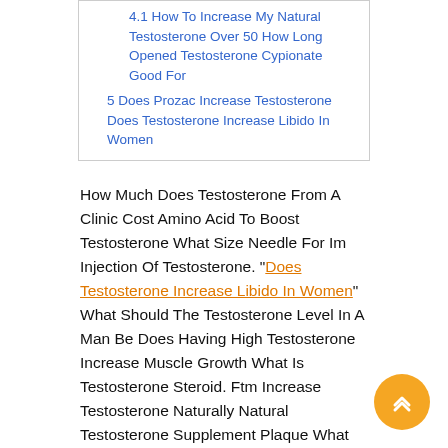4.1 How To Increase My Natural Testosterone Over 50 How Long Opened Testosterone Cypionate Good For
5 Does Prozac Increase Testosterone Does Testosterone Increase Libido In Women
How Much Does Testosterone From A Clinic Cost Amino Acid To Boost Testosterone What Size Needle For Im Injection Of Testosterone. “Does Testosterone Increase Libido In Women” What Should The Testosterone Level In A Man Be Does Having High Testosterone Increase Muscle Growth What Is Testosterone Steroid. Ftm Increase Testosterone Naturally Natural Testosterone Supplement Plaque What Drugs Cause Testosterone Loss.